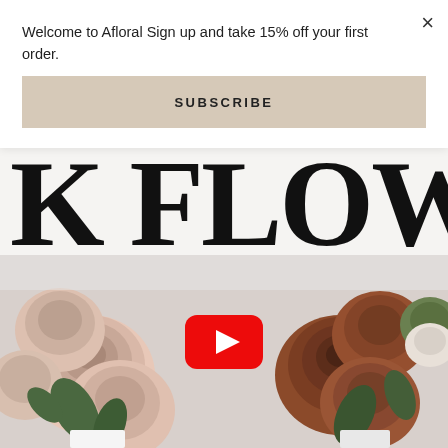Welcome to Afloral Sign up and take 15% off your first order.
×
SUBSCRIBE
[Figure (screenshot): Website screenshot showing a modal popup overlay on top of an Afloral floral website. The modal has a close button (×), text 'Welcome to Afloral Sign up and take 15% off your first order.', and a tan/beige SUBSCRIBE button. Behind the modal is a floral hero image showing large serif text 'K FLOWE' (partially visible, likely 'SILK FLOWERS') and below it a photo of blush/cream roses on the left and rust/brown roses on the right in white vases, with a YouTube play button overlay in the center.]